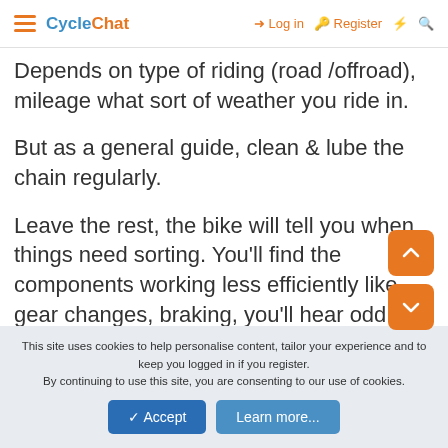CycleChat — Log in | Register
Depends on type of riding (road /offroad), mileage what sort of weather you ride in.
But as a general guide, clean & lube the chain regularly.
Leave the rest, the bike will tell you when things need sorting. You'll find the components working less efficiently like gear changes, braking, you'll hear odd noises
This site uses cookies to help personalise content, tailor your experience and to keep you logged in if you register.
By continuing to use this site, you are consenting to our use of cookies.